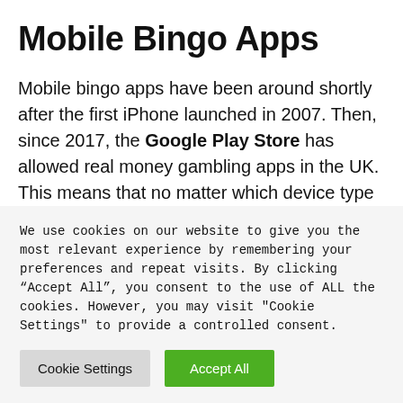Mobile Bingo Apps
Mobile bingo apps have been around shortly after the first iPhone launched in 2007. Then, since 2017, the Google Play Store has allowed real money gambling apps in the UK. This means that no matter which device type you own, there is a bingo app available.
We use cookies on our website to give you the most relevant experience by remembering your preferences and repeat visits. By clicking “Accept All”, you consent to the use of ALL the cookies. However, you may visit "Cookie Settings" to provide a controlled consent.